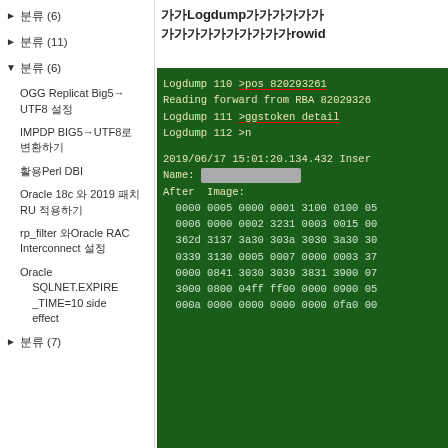► 분류 (6)
► 분류 (11)
▼ 분류 (6)
OGG Replicat Big5 → UTF8 설정
IMPDP BIG5→UTF8로 변환하기
활용Perl DBI
Oracle 18c 와 2019 패치 RU 적용하기
rp_filter 와Oracle RAC Interconnect 설정
Oracle SQLNET.EXPIRE_TIME=10 side effect
► 분류 (7)
가가Logdump가가가가가가 가가가가가가가가가가rowid
[Figure (screenshot): Terminal screenshot showing Logdump commands and hex output on dark green background. Lines include: 'Logdump 110 >pos 820293261' (pos underlined in red), 'Reading forward from RBA 82029326', 'Logdump 111 >ggstoken detail' (ggstoken detail underlined in red), 'Logdump 112 >n', blank line, '2019/06/17 15:01:20.134.432 Inser', 'Name: [BLURRED]_BCM_DETL', 'After  Image:', followed by hex data rows: '0000 0005 0000 0001 3100 0100 05', '0006 0000 0002 3231 0003 0015 00', '362d 3137 3a30 303a 3030 3a30 30', '0339 3130 0005 0007 0000 0003 37', '0000 0841 3030 3039 3831 3900 07', '3000 0800 04ff ff00 0000 0900 05', '000a 0000 0000 0000 0000 0fa0 00']